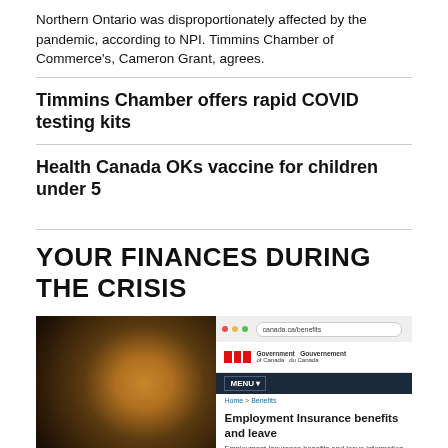Northern Ontario was disproportionately affected by the pandemic, according to NPI. Timmins Chamber of Commerce's, Cameron Grant, agrees.
Timmins Chamber offers rapid COVID testing kits
Health Canada OKs vaccine for children under 5
YOUR FINANCES DURING THE CRISIS
[Figure (photo): A blurred photo showing a warm glowing light on the left (bokeh effect) and a laptop screen on the right displaying the Government of Canada website's Employment Insurance benefits and leave page.]